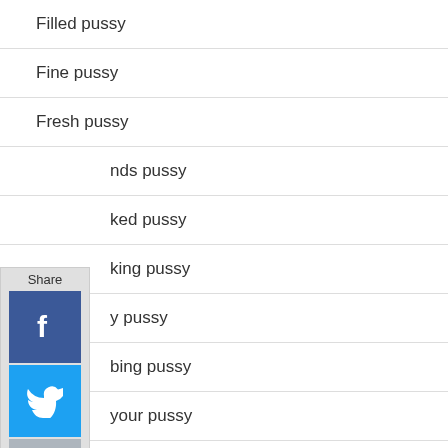Filled pussy
Fine pussy
Fresh pussy
...nds pussy
...ked pussy
...king pussy
...y pussy
...bing pussy
...your pussy
...s pussy
Give that pussy